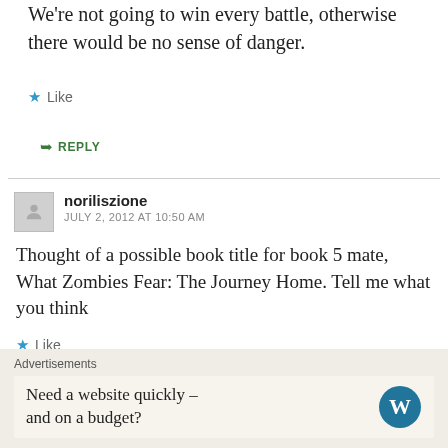We're not going to win every battle, otherwise there would be no sense of danger.
Like
REPLY
noriliszione
JULY 2, 2012 AT 10:50 AM
Thought of a possible book title for book 5 mate, What Zombies Fear: The Journey Home. Tell me what you think
Like
REPLY
Advertisements
Need a website quickly – and on a budget?